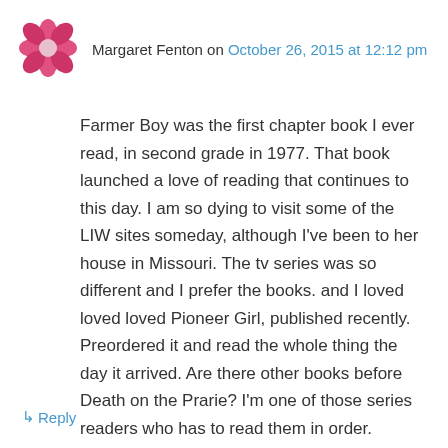[Figure (illustration): Pink/magenta decorative avatar icon with geometric quilt-like pattern]
Margaret Fenton on October 26, 2015 at 12:12 pm
Farmer Boy was the first chapter book I ever read, in second grade in 1977. That book launched a love of reading that continues to this day. I am so dying to visit some of the LIW sites someday, although I've been to her house in Missouri. The tv series was so different and I prefer the books. and I loved loved loved Pioneer Girl, published recently. Preordered it and read the whole thing the day it arrived. Are there other books before Death on the Prarie? I'm one of those series readers who has to read them in order.
↳ Reply